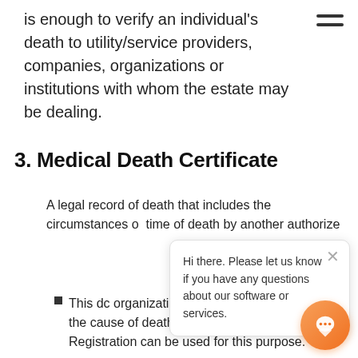is enough to verify an individual's death to utility/service providers, companies, organizations or institutions with whom the estate may be dealing.
3. Medical Death Certificate
A legal record of death that includes the circumstances of [death, and signed at the] time of death by [a medical professional or] another authorize[d person].
This do[cument is needed when an] organization requires a certificate with the cause of death. A Cer[tified] Copy of Death Registration can be used for this purpose.